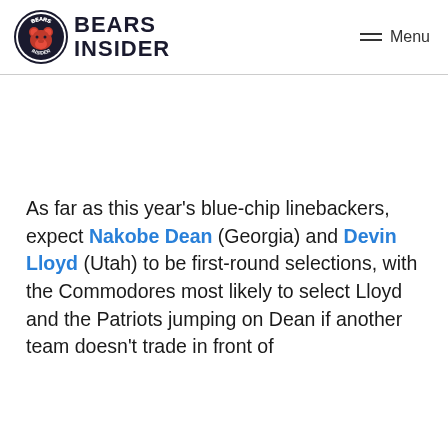BEARS INSIDER | Menu
As far as this year's blue-chip linebackers, expect Nakobe Dean (Georgia) and Devin Lloyd (Utah) to be first-round selections, with the Commodores most likely to select Lloyd and the Patriots jumping on Dean if another team doesn't trade in front of